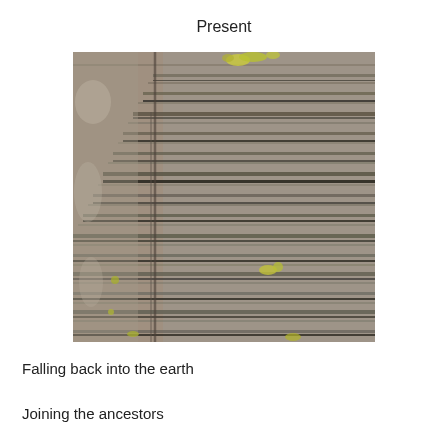Present
[Figure (photo): Close-up photograph of layered sedimentary rock or shale with horizontal strata and some yellow-green lichen growth. The rock face shows distinct horizontal banding and layering typical of ancient sedimentary formations.]
Falling back into the earth
Joining the ancestors